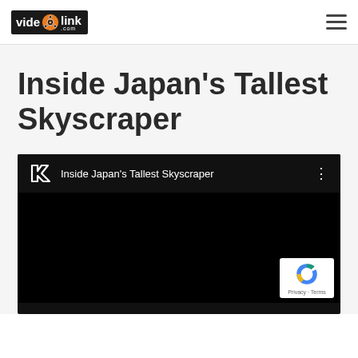[Figure (logo): Videolink.com logo in black box with orange film reel icon]
[Figure (other): Hamburger menu icon (three horizontal lines)]
Inside Japan's Tallest Skyscraper
[Figure (screenshot): Embedded video player showing 'Inside Japan's Tallest Skyscraper' with dark/black background, a stylized R logo, three-dot menu, and a reCAPTCHA badge showing Privacy and Terms text]